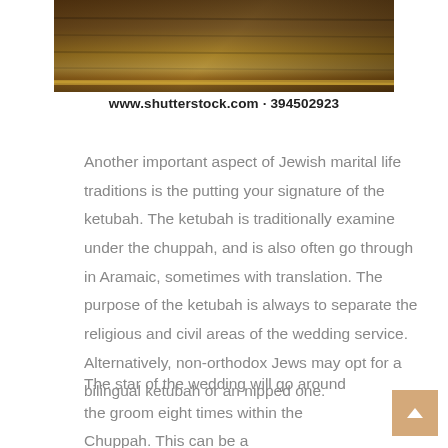[Figure (photo): A wooden staircase or banister with warm golden lighting along the edge, dark brown wood tones, partially cropped image showing architectural detail.]
www.shutterstock.com · 394502923
Another important aspect of Jewish marital life traditions is the putting your signature of the ketubah. The ketubah is traditionally examine under the chuppah, and is also often go through in Aramaic, sometimes with translation. The purpose of the ketubah is always to separate the religious and civil areas of the wedding service. Alternatively, non-orthodox Jews may opt for a bilingual ketubah or an nipped one.
The star of the wedding will go around the groom eight times within the Chuppah. This can be a